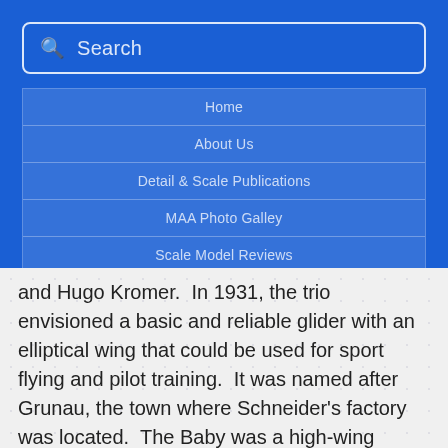[Figure (screenshot): Blue navigation overlay with a search bar at the top and menu items: Home, About Us, Detail & Scale Publications, MAA Photo Galley, Scale Model Reviews, Scale Modeling Photography, Contact Us]
and Hugo Kromer. In 1931, the trio envisioned a basic and reliable glider with an elliptical wing that could be used for sport flying and pilot training. It was named after Grunau, the town where Schneider's factory was located. The Baby was a high-wing braced